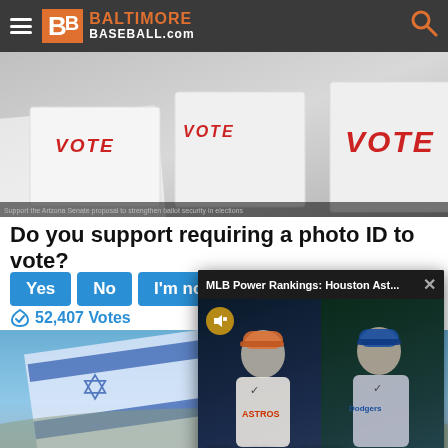Baltimore Baseball.com
[Figure (photo): Vote boxes with red VOTE text, blurred foreground]
Do you support requiring a photo ID to vote?
Yes | No | I'm not...
52,407 Votes
[Figure (screenshot): Video popup overlay: MLB Power Rankings: Houston Ast... with Ben Verlander's MLB Power Rankings thumbnail showing Houston Astros and Dodgers players]
[Figure (photo): Israeli and American flags waving outdoors]